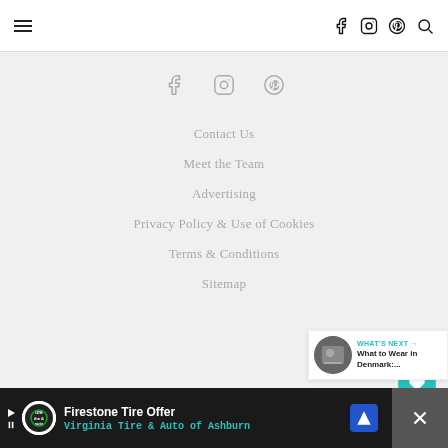Navigation header with hamburger menu and social/search icons
[Figure (other): Social media icons: Facebook, Instagram, Pinterest in gray]
Contact Us
Meet the Team
Advertising
Privacy Policy & Use of Cookies
Terms & Conditions
Sitemap
[Figure (other): Floating heart/like button (teal), count 2, share button]
[Figure (other): What's Next widget: What to Wear in Denmark:...]
[Figure (other): Ad bar: Firestone Tire Offer — Virginia Tire & Auto of Ashburn]